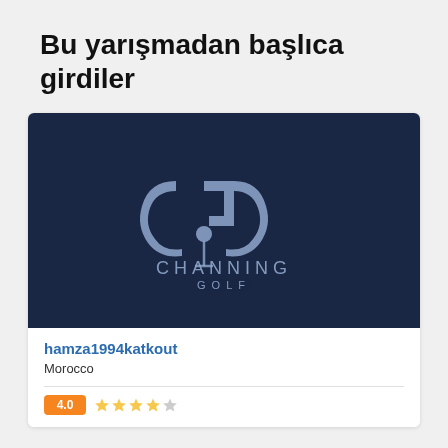Bu yarışmadan başlıca girdiler
[Figure (logo): Channing Golf logo on dark navy background — stylized CG monogram with a golf ball on a tee, text 'CHANNING GOLF' below]
hamza1994katkout
Morocco
4.0 rating with 4 orange stars